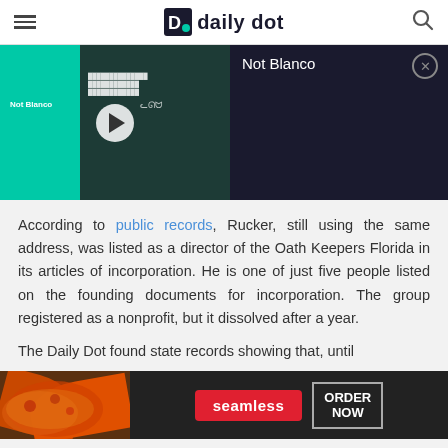daily dot
[Figure (screenshot): Embedded video player showing a TikTok video thumbnail with play button on a teal background. Right panel shows 'Not Blanco' title on dark background with close (X) button.]
According to public records, Rucker, still using the same address, was listed as a director of the Oath Keepers Florida in its articles of incorporation. He is one of just five people listed on the founding documents for incorporation. The group registered as a nonprofit, but it dissolved after a year.
The Daily Dot found state records showing that, until
[Figure (screenshot): Seamless food delivery advertisement banner with pizza image, Seamless red badge logo, and ORDER NOW button.]